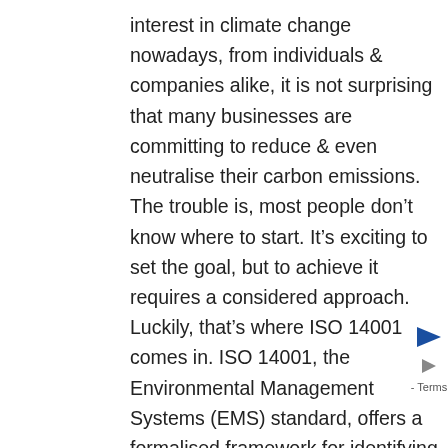interest in climate change nowadays, from individuals & companies alike, it is not surprising that many businesses are committing to reduce & even neutralise their carbon emissions. The trouble is, most people don't know where to start. It's exciting to set the goal, but to achieve it requires a considered approach. Luckily, that's where ISO 14001 comes in. ISO 14001, the Environmental Management Systems (EMS) standard, offers a formalised framework for identifying your environmental impacts, including climate risks & carbon emissions.   ISO 14001 EMS & Climate Change My latest webinar for IEMA